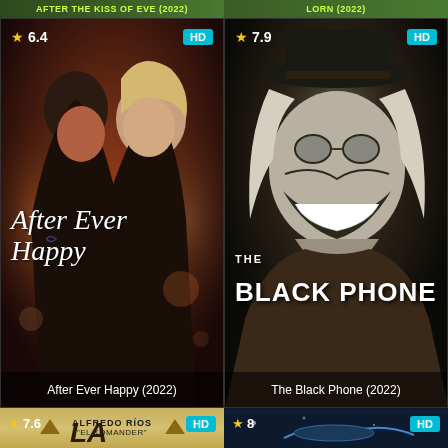[Figure (screenshot): Movie grid UI showing streaming app with movie posters. Top-left card partially visible. Top row shows 'After Ever Happy (2022)' rated 6.4 stars, HD badge. Top-right shows 'The Black Phone (2022)' rated 7.9 stars, HD badge. Bottom-left partially shows a movie rated 7.6, HD. Bottom-right partially shows a movie rated 8, HD.]